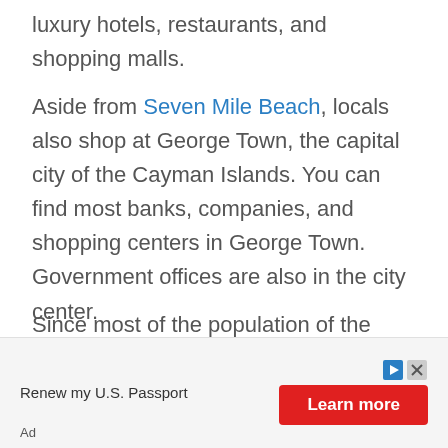luxury hotels, restaurants, and shopping malls.
Aside from Seven Mile Beach, locals also shop at George Town, the capital city of the Cayman Islands. You can find most banks, companies, and shopping centers in George Town. Government offices are also in the city center.
Since most of the population of the Cayman Islands is in George Town, it is also a major tourist destination for tourists in the Caribbean. The city is a port of call in the Caribbean region, and cruise ships
Renew my U.S. Passport
Learn more
Ad